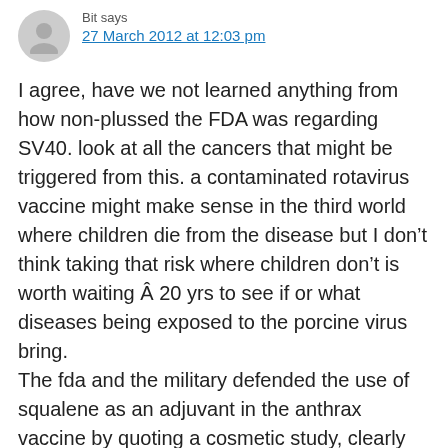Bit says
27 March 2012 at 12:03 pm
I agree, have we not learned anything from how non-plussed the FDA was regarding SV40. look at all the cancers that might be triggered from this. a contaminated rotavirus vaccine might make sense in the third world where children die from the disease but I don't think taking that risk where children don't is worth waiting Â 20 yrs to see if or what diseases being exposed to the porcine virus bring.
The fda and the military defended the use of squalene as an adjuvant in the anthrax vaccine by quoting a cosmetic study, clearly there are factors at play here besides science.